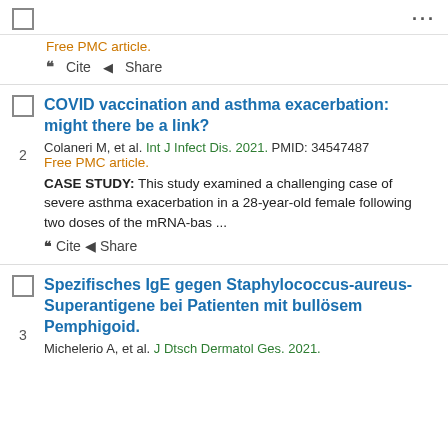Free PMC article.
" Cite  Share
COVID vaccination and asthma exacerbation: might there be a link?
Colaneri M, et al. Int J Infect Dis. 2021. PMID: 34547487
Free PMC article.
CASE STUDY: This study examined a challenging case of severe asthma exacerbation in a 28-year-old female following two doses of the mRNA-bas ...
" Cite  Share
Spezifisches IgE gegen Staphylococcus-aureus-Superantigene bei Patienten mit bullösem Pemphigoid.
Michelerio A, et al. J Dtsch Dermatol Ges. 2021.